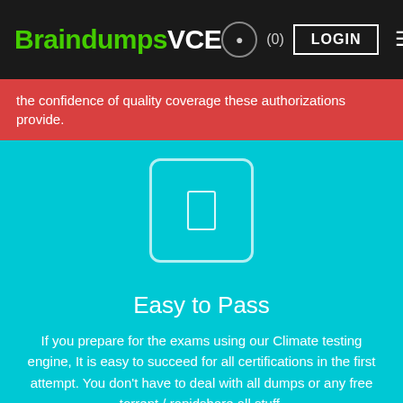BraindumpsVCE (0) LOGIN
the confidence of quality coverage these authorizations provide.
[Figure (illustration): Icon box with white border and document/phone icon on cyan background]
Easy to Pass
If you prepare for the exams using our Climate testing engine, It is easy to succeed for all certifications in the first attempt. You don't have to deal with all dumps or any free torrent / rapidshare all stuff.
[Figure (illustration): Icon box with white border and document/phone icon on green background]
Try Before Buy
Climate offers free demo of each product. You can check out the interface, question quality and usability of our practice exams